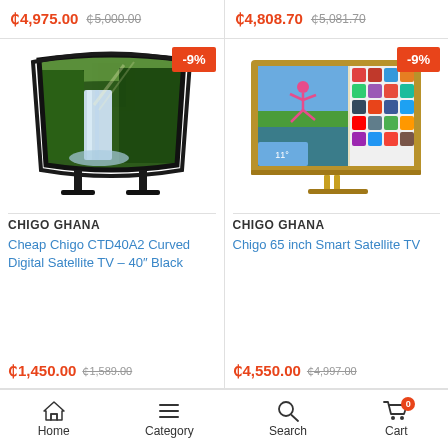₵4,975.00 ₵5,000.00
₵4,808.70 ₵5,081.70
[Figure (photo): Curved TV with -9% discount badge, showing waterfall/forest scene on screen]
CHIGO GHANA
Cheap Chigo CTD40A2 Curved Digital Satellite TV – 40″ Black
₵1,450.00 ₵1,589.00
[Figure (photo): Smart TV with -9% discount badge, showing smart TV interface with apps and person jumping]
CHIGO GHANA
Chigo 65 inch Smart Satellite TV
₵4,550.00 ₵4,997.00
Home   Category   Search   Cart